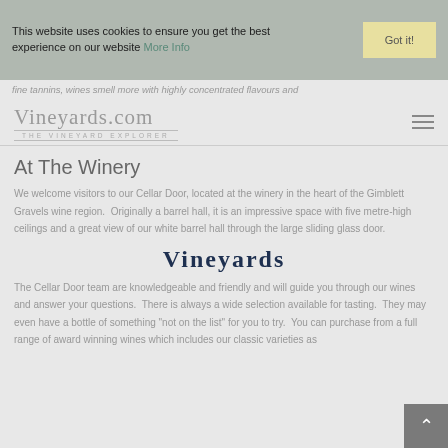This website uses cookies to ensure you get the best experience on our website More Info
Got it!
fine tannins, wines smell more with highly concentrated flavours and
Vineyards.com — THE VINEYARD EXPLORER
At The Winery
We welcome visitors to our Cellar Door, located at the winery in the heart of the Gimblett Gravels wine region.  Originally a barrel hall, it is an impressive space with five metre-high ceilings and a great view of our white barrel hall through the large sliding glass door.
Vineyards
The Cellar Door team are knowledgeable and friendly and will guide you through our wines and answer your questions.  There is always a wide selection available for tasting.  They may even have a bottle of something "not on the list" for you to try.  You can purchase from a full range of award winning wines which includes our classic varieties as